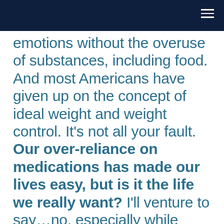emotions without the overuse of substances, including food. And most Americans have given up on the concept of ideal weight and weight control. It’s not all your fault. Our over-reliance on medications has made our lives easy, but is it the life we really want?  I’ll venture to say…no, especially while we’re being placed at greater risk of ravaging diseases, including pandemics.  All drugs are designed to change our body’s chemistry